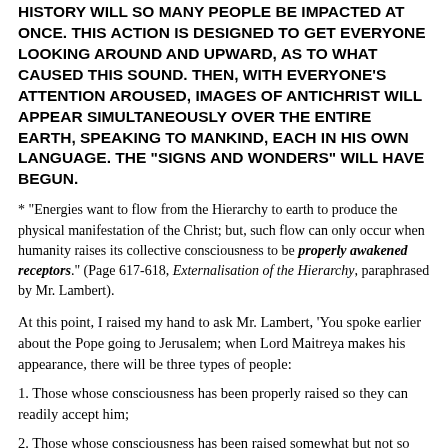HISTORY WILL SO MANY PEOPLE BE IMPACTED AT ONCE. THIS ACTION IS DESIGNED TO GET EVERYONE LOOKING AROUND AND UPWARD, AS TO WHAT CAUSED THIS SOUND. THEN, WITH EVERYONE'S ATTENTION AROUSED, IMAGES OF ANTICHRIST WILL APPEAR SIMULTANEOUSLY OVER THE ENTIRE EARTH, SPEAKING TO MANKIND, EACH IN HIS OWN LANGUAGE. THE "SIGNS AND WONDERS" WILL HAVE BEGUN.
* "Energies want to flow from the Hierarchy to earth to produce the physical manifestation of the Christ; but, such flow can only occur when humanity raises its collective consciousness to be properly awakened receptors." (Page 617-618, Externalisation of the Hierarchy, paraphrased by Mr. Lambert).
At this point, I raised my hand to ask Mr. Lambert, 'You spoke earlier about the Pope going to Jerusalem; when Lord Maitreya makes his appearance, there will be three types of people:
1. Those whose consciousness has been properly raised so they can readily accept him;
2. Those whose consciousness has been raised somewhat but not so high that they can readily
and immediately accept him, but they might be able to accept him